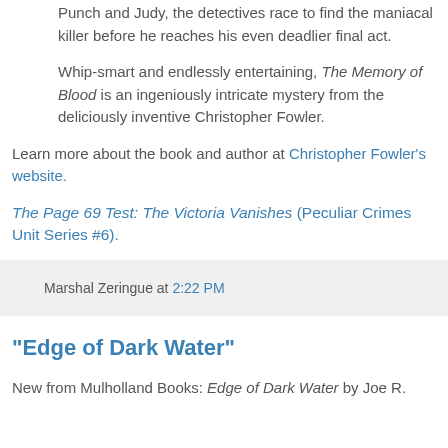Punch and Judy, the detectives race to find the maniacal killer before he reaches his even deadlier final act.
Whip-smart and endlessly entertaining, The Memory of Blood is an ingeniously intricate mystery from the deliciously inventive Christopher Fowler.
Learn more about the book and author at Christopher Fowler's website.
The Page 69 Test: The Victoria Vanishes (Peculiar Crimes Unit Series #6).
Marshal Zeringue at 2:22 PM
"Edge of Dark Water"
New from Mulholland Books: Edge of Dark Water by Joe R.